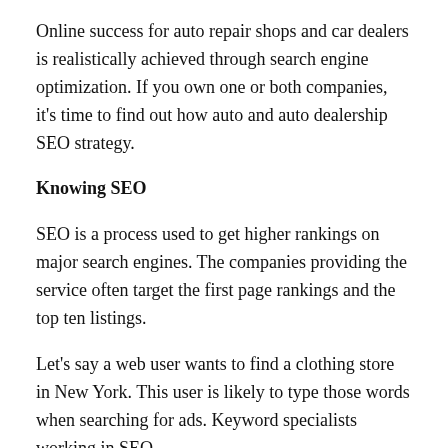Online success for auto repair shops and car dealers is realistically achieved through search engine optimization. If you own one or both companies, it's time to find out how auto and auto dealership SEO strategy.
Knowing SEO
SEO is a process used to get higher rankings on major search engines. The companies providing the service often target the first page rankings and the top ten listings.
Let's say a web user wants to find a clothing store in New York. This user is likely to type those words when searching for ads. Keyword specialists working in SEO